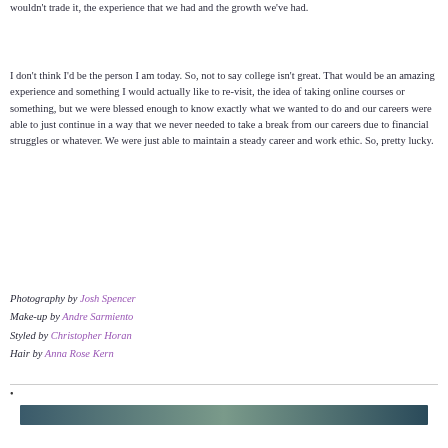wouldn't trade it, the experience that we had and the growth we've had.
I don't think I'd be the person I am today. So, not to say college isn't great. That would be an amazing experience and something I would actually like to re-visit, the idea of taking online courses or something, but we were blessed enough to know exactly what we wanted to do and our careers were able to just continue in a way that we never needed to take a break from our careers due to financial struggles or whatever. We were just able to maintain a steady career and work ethic. So, pretty lucky.
Photography by Josh Spencer
Make-up by Andre Sarmiento
Styled by Christopher Horan
Hair by Anna Rose Kern